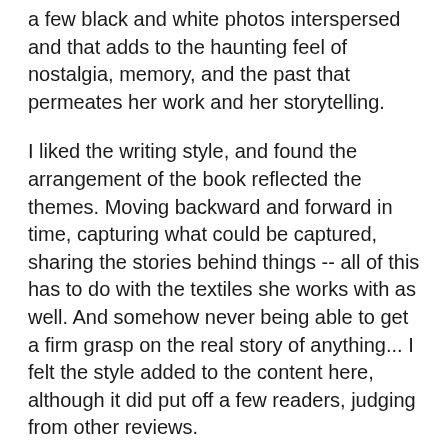a few black and white photos interspersed and that adds to the haunting feel of nostalgia, memory, and the past that permeates her work and her storytelling.
I liked the writing style, and found the arrangement of the book reflected the themes. Moving backward and forward in time, capturing what could be captured, sharing the stories behind things -- all of this has to do with the textiles she works with as well. And somehow never being able to get a firm grasp on the real story of anything... I felt the style added to the content here, although it did put off a few readers, judging from other reviews.
But if you are interested in the more esoteric meanings of clothing, time, and history, and you love a beautiful writing style, you might like this one as much as I did. My degree was in English and History, and my current obsessions are all textile based, so perhaps this one just checks all my boxes. If you need to slow down a bit, and dream, and read small bits at a time, pick this up. This is one that I would dip into again; it's easy to pick up and read a section and put down again, just to savour one moment. I was enchanted with this read.